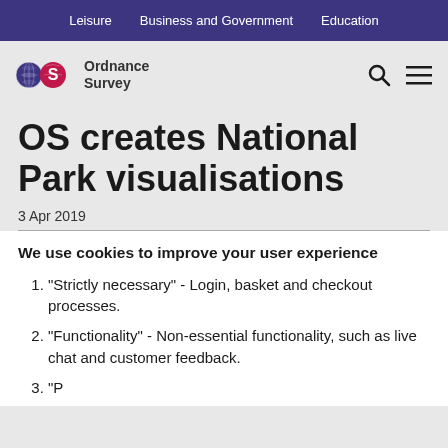Leisure   Business and Government   Education
[Figure (logo): Ordnance Survey logo with two circular map icons and text 'Ordnance Survey']
OS creates National Park visualisations
3 Apr 2019
We use cookies to improve your user experience
"Strictly necessary" - Login, basket and checkout processes.
"Functionality" - Non-essential functionality, such as live chat and customer feedback.
"Performance" - Anonymous usage data to help...